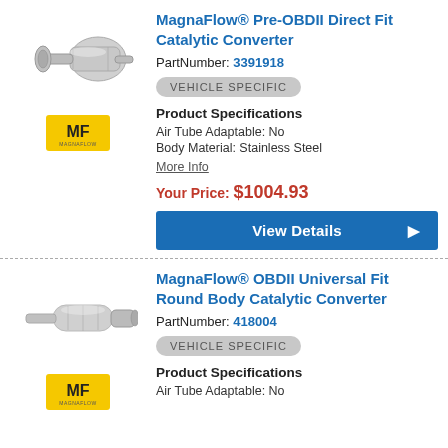[Figure (photo): MagnaFlow catalytic converter product image - angular body style]
[Figure (logo): MagnaFlow MF logo on yellow background]
MagnaFlow® Pre-OBDII Direct Fit Catalytic Converter
PartNumber: 3391918
VEHICLE SPECIFIC
Product Specifications
Air Tube Adaptable: No
Body Material: Stainless Steel
More Info
Your Price: $1004.93
View Details
[Figure (photo): MagnaFlow round body catalytic converter product image - cylindrical style]
[Figure (logo): MagnaFlow MF logo on yellow background]
MagnaFlow® OBDII Universal Fit Round Body Catalytic Converter
PartNumber: 418004
VEHICLE SPECIFIC
Product Specifications
Air Tube Adaptable: No